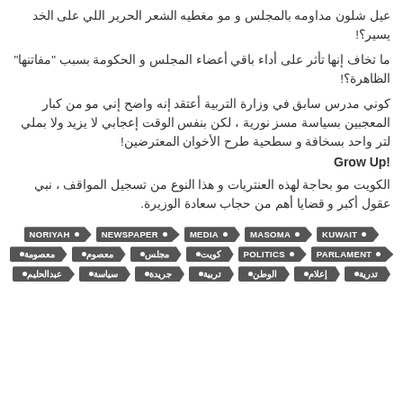عيل شلون مداومه بالمجلس و مو مغطيه الشعر الحرير اللي على الخد يسير؟!
ما تخاف إنها تأثر على أداء باقي أعضاء المجلس و الحكومة بسبب "مفاتنها" الظاهرة؟!
كوني مدرس سابق في وزارة التربية أعتقد إنه واضح إني مو من كبار المعجبين بسياسة مسز نورية ، لكن بنفس الوقت إعجابي لا يزيد ولا بملي لتر واحد بسخافة و سطحية طرح الأخوان المعترضين!
Grow Up!
الكويت مو بحاجة لهذه العنتريات و هذا النوع من تسجيل المواقف ، نبي عقول أكبر و قضايا أهم من حجاب سعادة الوزيرة.
NORIYAH • NEWSPAPER • MEDIA • MASOMA • KUWAIT •
معصومة • معصوم • مجلس • كويت • POLITICS • PARLAMENT •
عبدالحليم • سياسة • جريدة • تربية • الوطن • إعلام • تدرية •